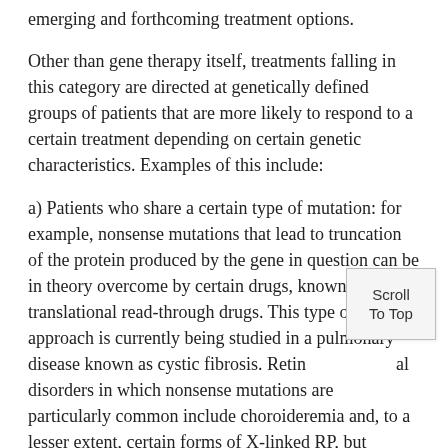emerging and forthcoming treatment options.
Other than gene therapy itself, treatments falling in this category are directed at genetically defined groups of patients that are more likely to respond to a certain treatment depending on certain genetic characteristics. Examples of this include:
a) Patients who share a certain type of mutation: for example, nonsense mutations that lead to truncation of the protein produced by the gene in question can be in theory overcome by certain drugs, known as translational read-through drugs. This type of approach is currently being studied in a pulmonary disease known as cystic fibrosis. Retinal disorders in which nonsense mutations are particularly common include choroideremia and, to a lesser extent, certain forms of X-linked RP, but nonsense mutations have been reported for nearly every form of RP and related disorders. Therefore, if such treatments were to be proven safe and